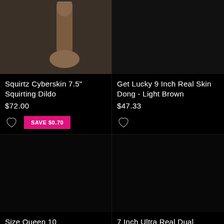[Figure (photo): Product photo of Squirtz Cyberskin 7.5 inch Squirting Dildo, brown color on gray background]
Squirtz Cyberskin 7.5" Squirting Dildo
$72.00
[Figure (photo): Product photo of Get Lucky 9 Inch Real Skin Dong - Light Brown, dark background]
Get Lucky 9 Inch Real Skin Dong - Light Brown
$47.33
[Figure (photo): Product photo of Size Queen 10, dark background]
Size Queen 10
[Figure (photo): Product photo of 7 Inch Ultra Real Dual, dark background]
7 Inch Ultra Real Dual